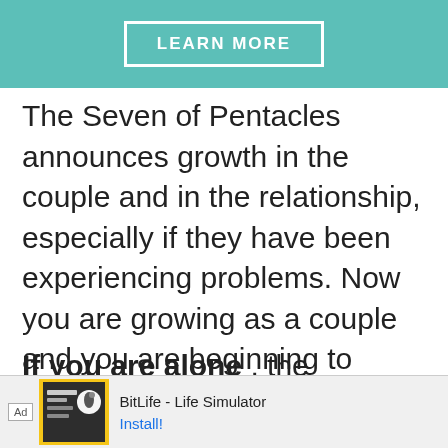[Figure (other): Teal/green banner area with a 'LEARN MORE' button styled with white border on teal background]
The Seven of Pentacles announces growth in the couple and in the relationship, especially if they have been experiencing problems. Now you are growing as a couple and you are beginning to enjoy a much happier time.
If you are alone , the person who occupies your heart may finally notice
[Figure (screenshot): Ad bar at the bottom: BitLife - Life Simulator advertisement with app icon and Install! link]